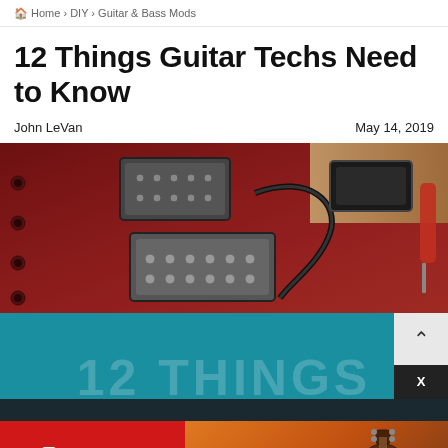Home › DIY › Guitar & Bass Mods
12 Things Guitar Techs Need to Know
John LeVan   May 14, 2019
[Figure (photo): Close-up photo of a red electric guitar body showing pickups, screws, a pickup cover removed, and guitar tools/parts on a wooden surface nearby]
[Figure (photo): Teal banner with large semi-transparent text reading '12 THINGS' with a scroll-to-top button and an X close button overlay, and a Guitar Center advertisement banner below showing Guitar Center logo on red background and an acoustic guitar on orange/brown background]